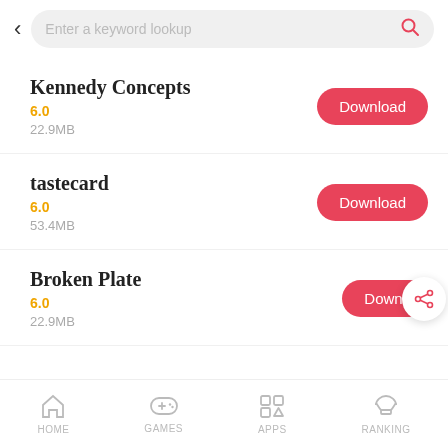[Figure (screenshot): Search bar with back arrow and search icon]
Kennedy Concepts
6.0
22.9MB
tastecard
6.0
53.4MB
Broken Plate
6.0
22.9MB
HOME  GAMES  APPS  RANKING